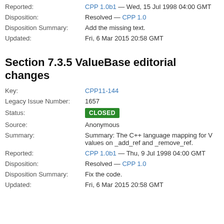Reported: CPP 1.0b1 — Wed, 15 Jul 1998 04:00 GMT
Disposition: Resolved — CPP 1.0
Disposition Summary: Add the missing text.
Updated: Fri, 6 Mar 2015 20:58 GMT
Section 7.3.5 ValueBase editorial changes
Key: CPP11-144
Legacy Issue Number: 1657
Status: CLOSED
Source: Anonymous
Summary: Summary: The C++ language mapping for V values on _add_ref and _remove_ref.
Reported: CPP 1.0b1 — Thu, 9 Jul 1998 04:00 GMT
Disposition: Resolved — CPP 1.0
Disposition Summary: Fix the code.
Updated: Fri, 6 Mar 2015 20:58 GMT